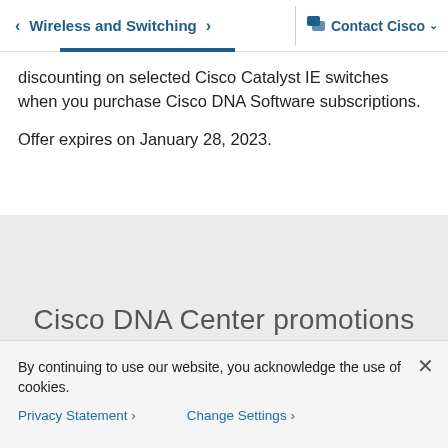< Wireless and Switching > | Contact Cisco v
discounting on selected Cisco Catalyst IE switches when you purchase Cisco DNA Software subscriptions.
Offer expires on January 28, 2023.
Cisco DNA Center promotions
By continuing to use our website, you acknowledge the use of cookies.
Privacy Statement > Change Settings >